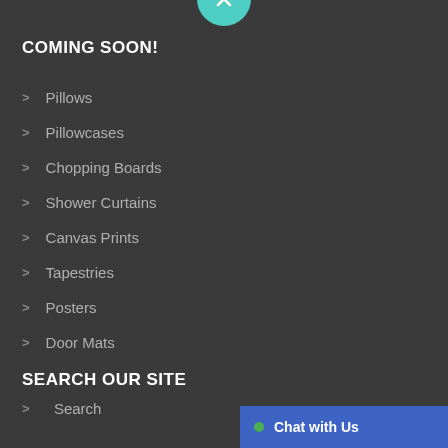[Figure (illustration): Teal circle with X icon at top center of page]
COMING SOON!
Pillows
Pillowcases
Chopping Boards
Shower Curtains
Canvas Prints
Tapestries
Posters
Door Mats
SEARCH OUR SITE
Search
Chat with Us